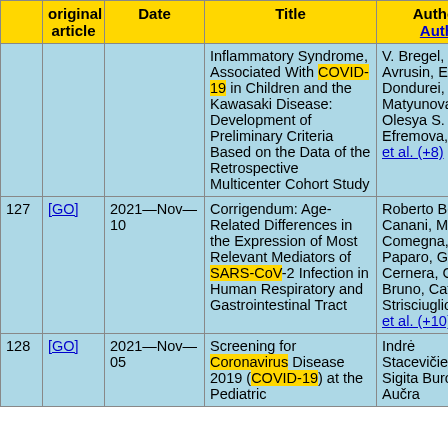|  | original article | Date | Title | Authors |
| --- | --- | --- | --- | --- |
|  |  |  | Inflammatory Syndrome, Associated With COVID-19 in Children and the Kawasaki Disease: Development of Preliminary Criteria Based on the Data of the Retrospective Multicenter Cohort Study | V. Bregel, Il Avrusin, Ele Dondurei, A Matyunova, Olesya S. Efremova, et al. (+8) |
| 127 | [GO] | 2021—Nov—10 | Corrigendum: Age-Related Differences in the Expression of Most Relevant Mediators of SARS-CoV-2 Infection in Human Respiratory and Gastrointestinal Tract | Roberto Ber Canani, Mar Comegna, L Paparo, Gus Cernera, Cri Bruno, Cate Strisciuglio, et al. (+10) |
| 128 | [GO] | 2021—Nov—05 | Screening for Coronavirus Disease 2019 (COVID-19) at the Pediatric | Indrė Stacevičienė Sigita Burok Aučra |